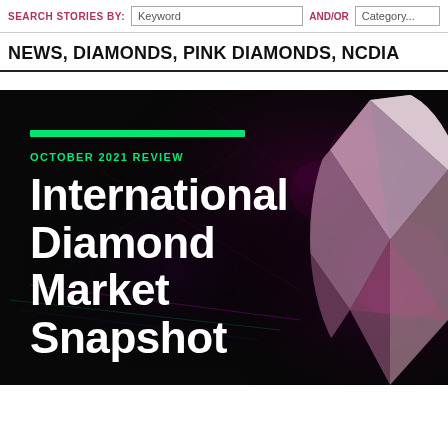SEARCH STORIES BY: Keyword AND/OR Category...
NEWS, DIAMONDS, PINK DIAMONDS, NCDIA
[Figure (photo): Dark background promotional image for 'International Diamond Market Snapshot - October 2021 Review' with a large faceted diamond on the right side, a green horizontal bar accent, and large white bold text on the left.]